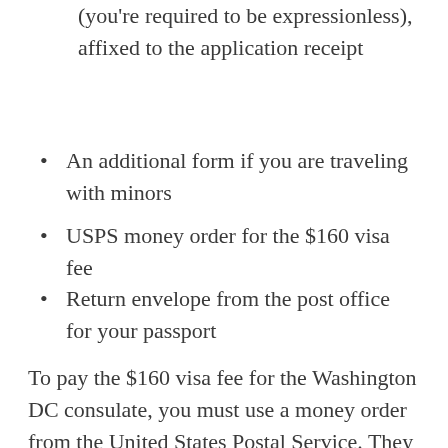(you're required to be expressionless), affixed to the application receipt
An additional form if you are traveling with minors
USPS money order for the $160 visa fee
Return envelope from the post office for your passport
To pay the $160 visa fee for the Washington DC consulate, you must use a money order from the United States Postal Service. They accept no other form of payment. The return envelope must also be from the post office. Express Mail